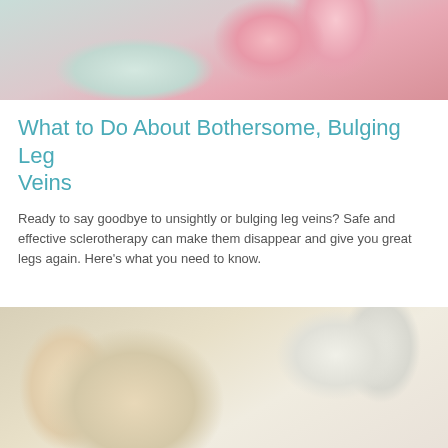[Figure (photo): Close-up photo of pink latex gloved hands touching or examining skin, medical procedure setting]
What to Do About Bothersome, Bulging Leg Veins
Ready to say goodbye to unsightly or bulging leg veins? Safe and effective sclerotherapy can make them disappear and give you great legs again. Here’s what you need to know.
[Figure (photo): Photo of a blonde woman with eyes closed receiving a facial injection from a gloved medical professional in white]